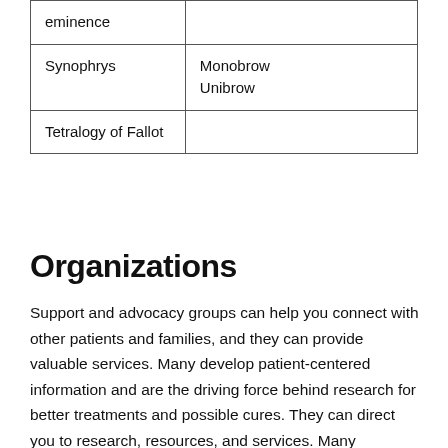| eminence |  |
| Synophrys | Monobrow
Unibrow |
| Tetralogy of Fallot |  |
Organizations
Support and advocacy groups can help you connect with other patients and families, and they can provide valuable services. Many develop patient-centered information and are the driving force behind research for better treatments and possible cures. They can direct you to research, resources, and services. Many organizations also have experts who serve as medical advisors or